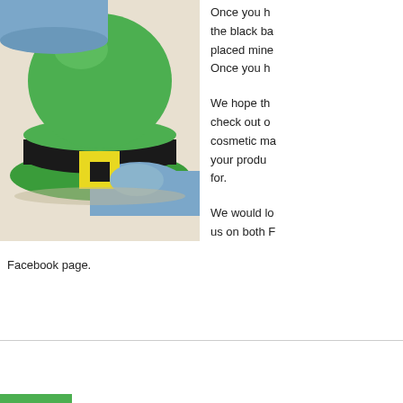[Figure (photo): A gloved hand (blue latex glove) holding a green 3D-printed bell/dome shape with a yellow rectangular piece attached, sitting on a white surface.]
Once you h the black ba placed mine Once you h
We hope th check out o cosmetic ma your produ for.
We would lo us on both F
Facebook page.